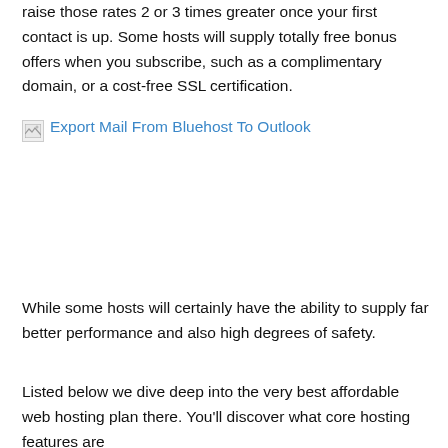raise those rates 2 or 3 times greater once your first contact is up. Some hosts will supply totally free bonus offers when you subscribe, such as a complimentary domain, or a cost-free SSL certification.
[Figure (other): Broken image placeholder with link text 'Export Mail From Bluehost To Outlook']
While some hosts will certainly have the ability to supply far better performance and also high degrees of safety.
Listed below we dive deep into the very best affordable web hosting plan there. You'll discover what core hosting features are